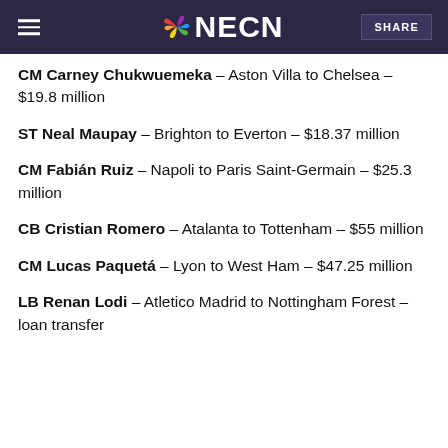NECN
CM Carney Chukwuemeka – Aston Villa to Chelsea – $19.8 million
ST Neal Maupay – Brighton to Everton – $18.37 million
CM Fabián Ruiz – Napoli to Paris Saint-Germain – $25.3 million
CB Cristian Romero – Atalanta to Tottenham – $55 million
CM Lucas Paquetá – Lyon to West Ham – $47.25 million
LB Renan Lodi – Atletico Madrid to Nottingham Forest – loan transfer